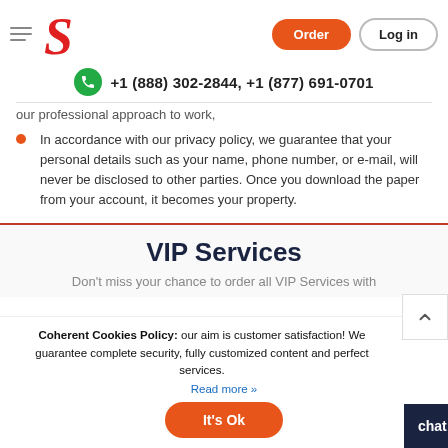Order  Log in  +1 (888) 302-2844, +1 (877) 691-0701
our professional approach to work,
In accordance with our privacy policy, we guarantee that your personal details such as your name, phone number, or e-mail, will never be disclosed to other parties. Once you download the paper from your account, it becomes your property.
VIP Services
Don't miss your chance to order all VIP Services with
Coherent Cookies Policy: our aim is customer satisfaction! We guarantee complete security, fully customized content and perfect services.
Read more »
It's Ok